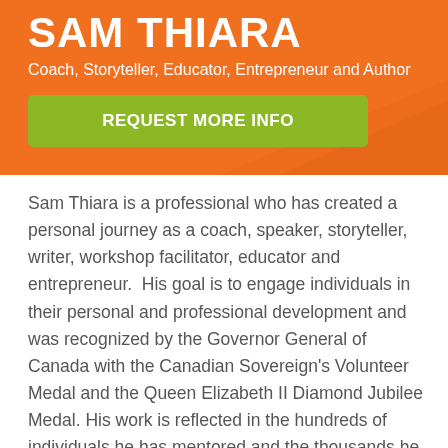SAM THIARA
Coach, Storyteller, Educator, Entrepreneur and Author
REQUEST MORE INFO
Sam Thiara is a professional who has created a personal journey as a coach, speaker, storyteller, writer, workshop facilitator, educator and entrepreneur.  His goal is to engage individuals in their personal and professional development and was recognized by the Governor General of Canada with the Canadian Sovereign's Volunteer Medal and the Queen Elizabeth II Diamond Jubilee Medal. His work is reflected in the hundreds of individuals he has mentored and the thousands he has engaged. Added to this are the 45+ non-